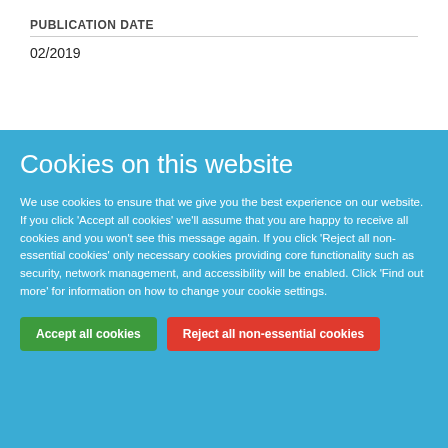PUBLICATION DATE
02/2019
Cookies on this website
We use cookies to ensure that we give you the best experience on our website. If you click 'Accept all cookies' we'll assume that you are happy to receive all cookies and you won't see this message again. If you click 'Reject all non-essential cookies' only necessary cookies providing core functionality such as security, network management, and accessibility will be enabled. Click 'Find out more' for information on how to change your cookie settings.
Accept all cookies
Reject all non-essential cookies